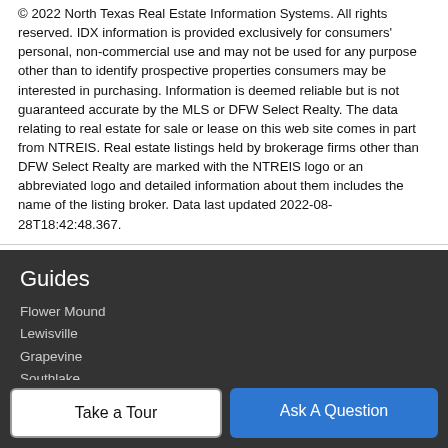© 2022 North Texas Real Estate Information Systems. All rights reserved. IDX information is provided exclusively for consumers' personal, non-commercial use and may not be used for any purpose other than to identify prospective properties consumers may be interested in purchasing. Information is deemed reliable but is not guaranteed accurate by the MLS or DFW Select Realty. The data relating to real estate for sale or lease on this web site comes in part from NTREIS. Real estate listings held by brokerage firms other than DFW Select Realty are marked with the NTREIS logo or an abbreviated logo and detailed information about them includes the name of the listing broker. Data last updated 2022-08-28T18:42:48.367.
Guides
Flower Mound
Lewisville
Grapevine
Southlake